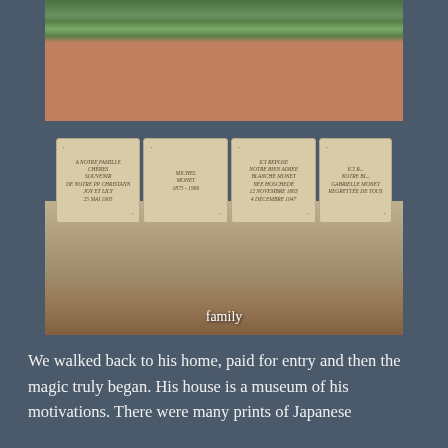[Figure (photo): Photograph of the Monet family grave/tomb in Giverny, showing stone memorial plaques with inscriptions including 'Michel Monet 1878-1966' and 'Blanche Monet née Hoschedé', surrounded by flowering plants and vegetation, with gravel ground below. The word 'family' appears as a caption overlay on the photo.]
family
We walked back to his home, paid for entry and then the magic truly began. His house is a museum of his motivations. There were many prints of Japanese